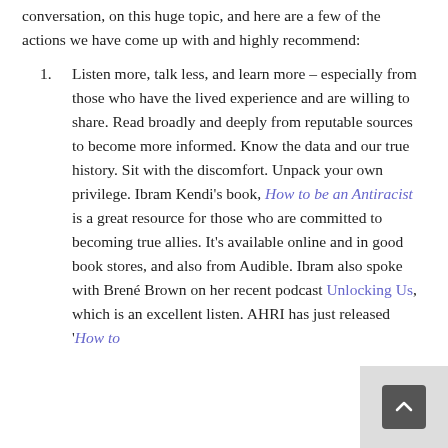conversation, on this huge topic, and here are a few of the actions we have come up with and highly recommend:
Listen more, talk less, and learn more – especially from those who have the lived experience and are willing to share. Read broadly and deeply from reputable sources to become more informed. Know the data and our true history. Sit with the discomfort. Unpack your own privilege. Ibram Kendi's book, How to be an Antiracist is a great resource for those who are committed to becoming true allies. It's available online and in good book stores, and also from Audible. Ibram also spoke with Brené Brown on her recent podcast Unlocking Us, which is an excellent listen. AHRI has just released 'How to